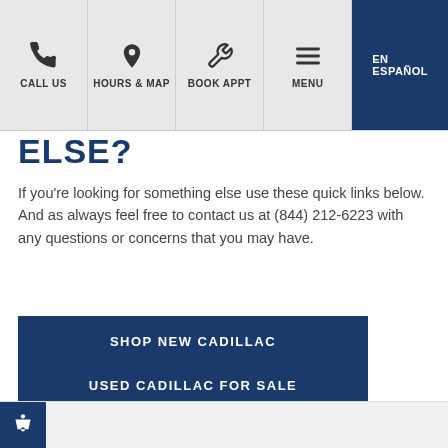CALL US | HOURS & MAP | BOOK APPT | MENU | EN ESPAÑOL
ELSE?
If you're looking for something else use these quick links below. And as always feel free to contact us at (844) 212-6223 with any questions or concerns that you may have.
SHOP NEW CADILLAC
USED CADILLAC FOR SALE
AUTO REPAIR SHOP
CONTACT US